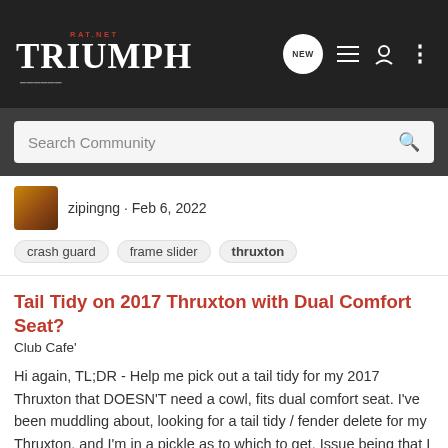TRIUMPH RAT.NET
Search Community
zipingng · Feb 6, 2022
crash guard   frame slider   thruxton
Tail Tidy on 2017 Thruxton with Dual Comfort Seat?
Club Cafe'
Hi again, TL;DR - Help me pick out a tail tidy for my 2017 Thruxton that DOESN'T need a cowl, fits dual comfort seat. I've been muddling about, looking for a tail tidy / fender delete for my Thruxton, and I'm in a pickle as to which to get. Issue being that I do not have a cowl, and have the...
7   1K
deeveeance · Dec 9, 2021
fek   fender delete   tail tidy   thruxton